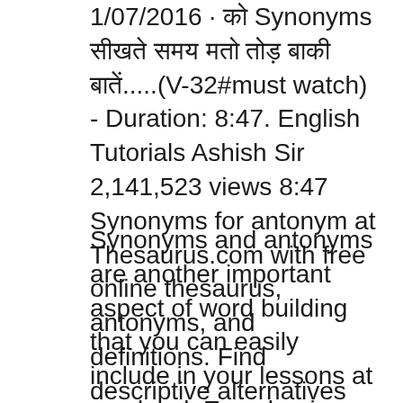1/07/2016 · कà¥à Synonyms सà¥à€à€à€ मà€à€ मà€à€ बà€à€à€ बà€à€à€à€.....(V-32#must watch) - Duration: 8:47. English Tutorials Ashish Sir 2,141,523 views 8:47 Synonyms for antonym at Thesaurus.com with free online thesaurus, antonyms, and definitions. Find descriptive alternatives for antonym.
Synonyms and antonyms are another important aspect of word building that you can easily include in your lessons at any level. Even beginners learn antonyms when they study adjectives like tall, short, big, and small at which point they will also probably learn the